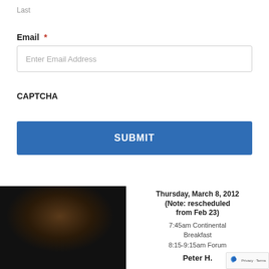Last
Email *
Enter Email Address
CAPTCHA
SUBMIT
[Figure (photo): Headshot photo of a person with dark hair against dark background]
Thursday, March 8, 2012 (Note: rescheduled from Feb 23) 7:45am Continental Breakfast 8:15-9:15am Forum
Peter H.